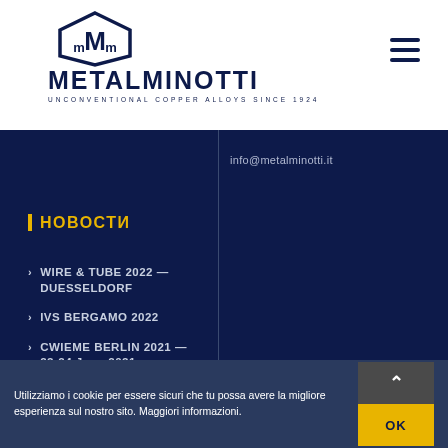[Figure (logo): Metalminotti logo: hexagonal badge with stylized M, company name METALMINOTTI, tagline UNCONVENTIONAL COPPER ALLOYS SINCE 1924]
info@metalminotti.it
НОВОСТИ
WIRE & TUBE 2022 — DUESSELDORF
IVS BERGAMO 2022
CWIEME BERLIN 2021 — 22-24 June 2021
CWIEME 2020 BERLIN HAS
Utilizziamo i cookie per essere sicuri che tu possa avere la migliore esperienza sul nostro sito. Maggiori informazioni.